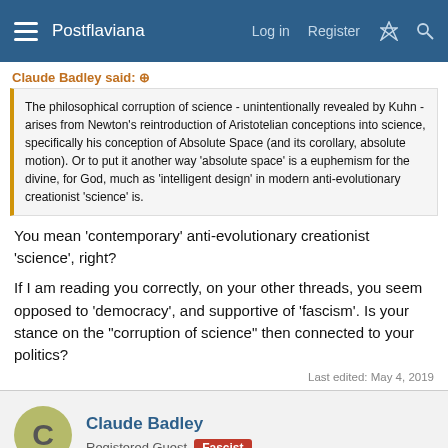Postflaviana  Log in  Register
Claude Badley said:
The philosophical corruption of science - unintentionally revealed by Kuhn - arises from Newton's reintroduction of Aristotelian conceptions into science, specifically his conception of Absolute Space (and its corollary, absolute motion). Or to put it another way 'absolute space' is a euphemism for the divine, for God, much as 'intelligent design' in modern anti-evolutionary creationist 'science' is.
You mean 'contemporary' anti-evolutionary creationist 'science', right?
If I am reading you correctly, on your other threads, you seem opposed to 'democracy', and supportive of 'fascism'. Is your stance on the "corruption of science" then connected to your politics?
Last edited: May 4, 2019
Claude Badley
Registered Guest  Fascist